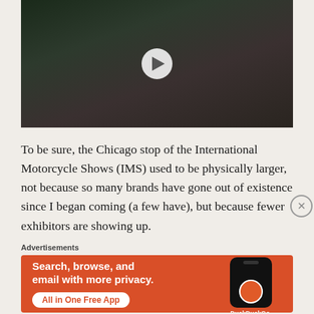[Figure (photo): Video thumbnail showing motorcyclists riding with orange barriers on side, with a play button overlay]
To be sure, the Chicago stop of the International Motorcycle Shows (IMS) used to be physically larger, not because so many brands have gone out of existence since I began coming (a few have), but because fewer exhibitors are showing up.
Advertisements
[Figure (infographic): DuckDuckGo advertisement banner with orange background. Text: Search, browse, and email with more privacy. All in One Free App. Shows DuckDuckGo logo on a phone graphic and DuckDuckGo. branding.]